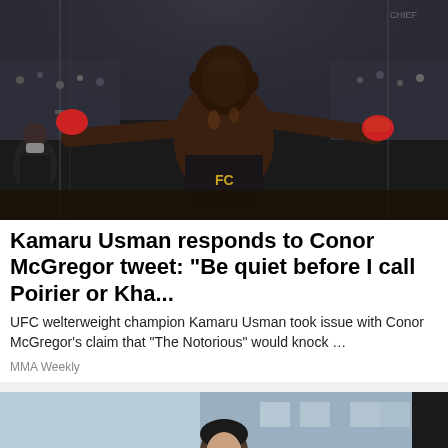[Figure (photo): UFC fighter Kamaru Usman celebrating in the octagon, arms outstretched, wearing UFC gloves and shorts, crowd visible in background]
Kamaru Usman responds to Conor McGregor tweet: "Be quiet before I call Poirier or Kha...
UFC welterweight champion Kamaru Usman took issue with Conor McGregor's claim that “The Notorious” would knock …
MMA Weekly
[Figure (photo): Partial photo of a person, second news article thumbnail, partially visible at bottom of page]